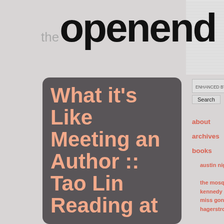the open end
What it's Like Meeting an Author :: Tao Lin Reading at
ENHANCED BY Google Search
about
archives
books
austin nights by herocious
the mosquito song by m. l. kennedy
miss gone-overseas by mitchell hagerstrom
heart of scorpio by joseph avski & mark david mcgraw
the persistence of crows by grant maierhofer